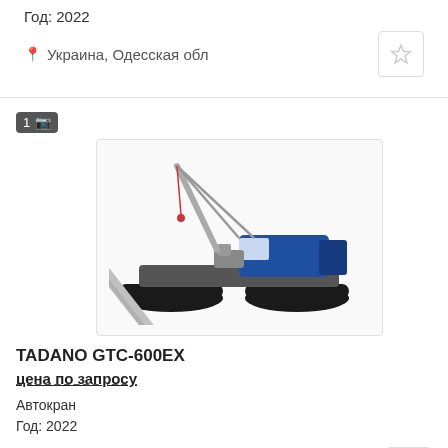Год: 2022
Украина, Одесская обл
[Figure (photo): Tadano GTC-600EX crawler crane with blue body and gray boom extended diagonally, shown on white background]
TADANO GTC-600EX
цена по запросу
Автокран
Год: 2022
Украина, Одесская обл